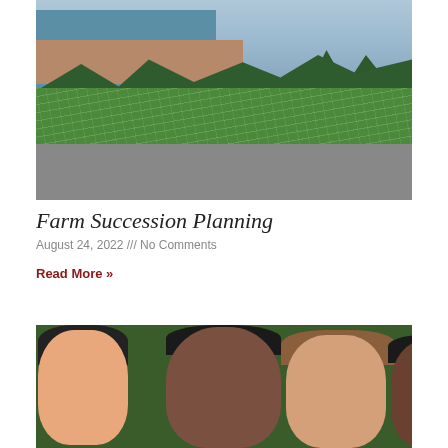[Figure (photo): Aerial view of a farm or cemetery with rows of crops or markers, trees, beach, and ocean in the background with overcast sky. Gray strip at the bottom.]
Farm Succession Planning
August 24, 2022 /// No Comments
Read More »
[Figure (photo): Close-up photo of a smiling family including a Black man, a woman with light brown hair, a young girl, and a teenage boy, outdoors with green foliage background.]